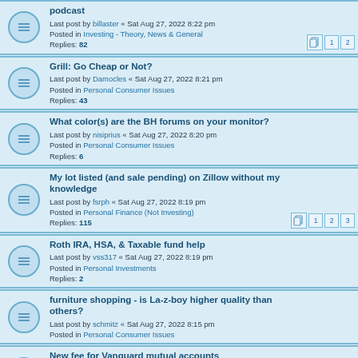podcast
Last post by billaster « Sat Aug 27, 2022 8:22 pm
Posted in Investing - Theory, News & General
Replies: 82
Grill: Go Cheap or Not?
Last post by Damocles « Sat Aug 27, 2022 8:21 pm
Posted in Personal Consumer Issues
Replies: 43
What color(s) are the BH forums on your monitor?
Last post by nisiprius « Sat Aug 27, 2022 8:20 pm
Posted in Personal Consumer Issues
Replies: 6
My lot listed (and sale pending) on Zillow without my knowledge
Last post by fsrph « Sat Aug 27, 2022 8:19 pm
Posted in Personal Finance (Not Investing)
Replies: 115
Roth IRA, HSA, & Taxable fund help
Last post by vss317 « Sat Aug 27, 2022 8:19 pm
Posted in Personal Investments
Replies: 2
furniture shopping - is La-z-boy higher quality than others?
Last post by schmitz « Sat Aug 27, 2022 8:15 pm
Posted in Personal Consumer Issues
New fee for Vanguard mutual accounts
Last post by LadyGeek « Sat Aug 27, 2022 8:14 pm
Posted in Investing - Theory, News & General
Replies: 763